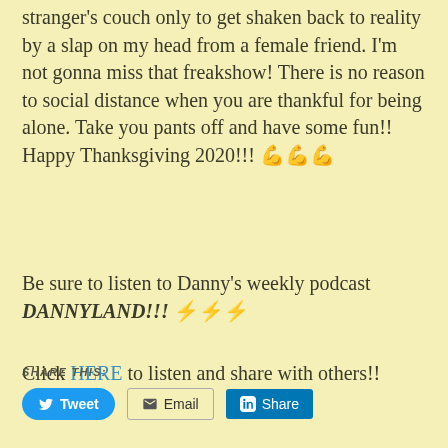stranger's couch only to get shaken back to reality by a slap on my head from a female friend. I'm not gonna miss that freakshow! There is no reason to social distance when you are thankful for being alone. Take you pants off and have some fun!! Happy Thanksgiving 2020!!! 💪💪💪
Be sure to listen to Danny's weekly podcast DANNYLAND!!! ⚡⚡⚡
Click HERE to listen and share with others!!
SHARE THIS: